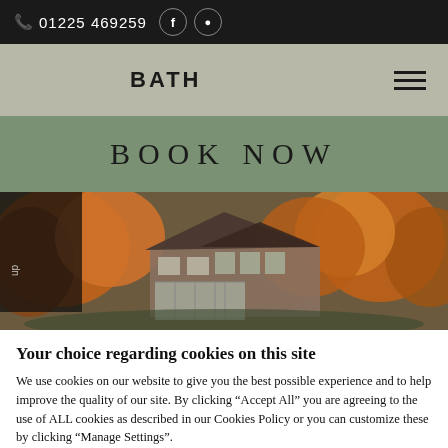01225 469259
BATH
BOOK NOW
[Figure (photo): Aerial view of a large manor house surrounded by autumn trees with orange and golden foliage]
Your choice regarding cookies on this site
We use cookies on our website to give you the best possible experience and to help improve the quality of our site. By clicking “Accept All” you are agreeing to the use of ALL cookies as described in our Cookies Policy or you can customize these by clicking “Manage Settings”.